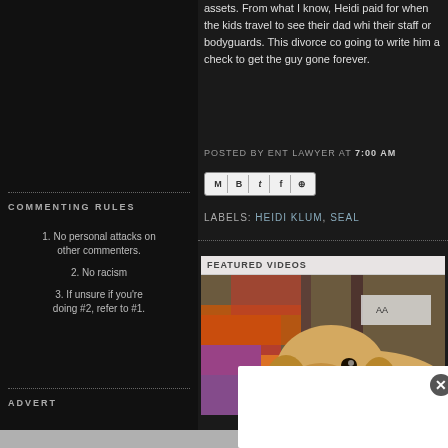assets. From what I know, Heidi paid for when the kids travel to see their dad whi their staff or bodyguards. This divorce co going to write him a check to get the guy gone forever.
POSTED BY ENT LAWYER AT 7:00 AM
LABELS: HEIDI KLUM, SEAL
COMMENTING RULES
1. No personal attacks on other commenters.
2. No racism
3. If unsure if you're doing #2, refer to #1.
ADVERT
FEATURED VIDEOS
[Figure (photo): A golden retriever dog lying on a colorful patchwork quilt, close-up shot showing face and paws]